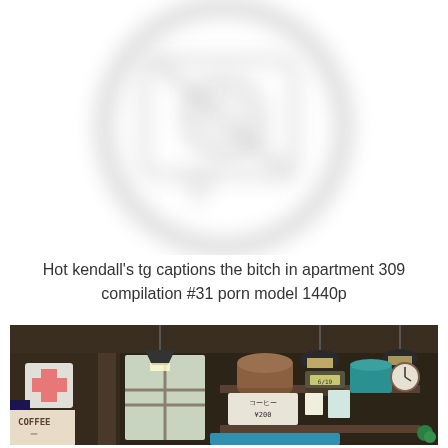[Figure (illustration): A blurred/faded circular watermark-style icon showing a camera or photo placeholder symbol in light gray on white background, occupying the top portion of the page.]
Hot kendall's tg captions the bitch in apartment 309 compilation #31 porn model 1440p
[Figure (screenshot): A pixel-art style illustration of a Japanese cafe or shop interior. Shows pendant lights, shelves with jars, a teal tin container, a clock, a menu board showing 'コーヒー ¥200', various items on walls, and dark atmospheric lighting.]